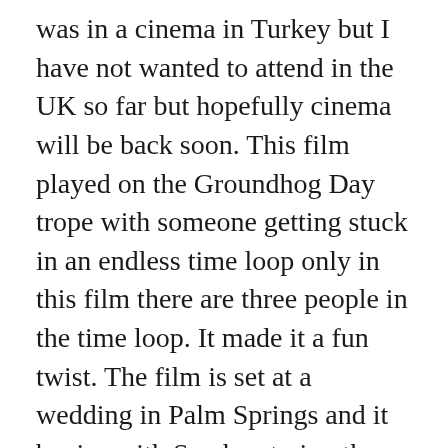was in a cinema in Turkey but I have not wanted to attend in the UK so far but hopefully cinema will be back soon. This film played on the Groundhog Day trope with someone getting stuck in an endless time loop only in this film there are three people in the time loop. It made it a fun twist. The film is set at a wedding in Palm Springs and it begins with Sarah entering the time loop that Niles is already in. The two of them make the most of the endless days and gradually become closer and look for ways to leave the loop. It was a fun comedy that took my mind off 2020 for a while. Some great comedy stars star, Andy Samberg and Cristin Milioti with other known faces: Peter Gallagher, Tyler Hoechlin, Camila